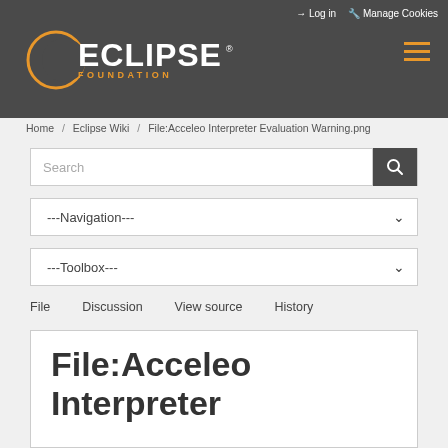Log in  Manage Cookies
[Figure (logo): Eclipse Foundation logo with crescent arc, white ECLIPSE text and orange FOUNDATION text]
Home / Eclipse Wiki / File:Acceleo Interpreter Evaluation Warning.png
Search
---Navigation---
---Toolbox---
File   Discussion   View source   History
File:Acceleo Interpreter